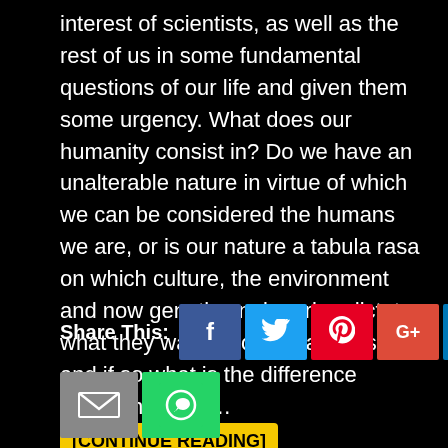interest of scientists, as well as the rest of us in some fundamental questions of our life and given them some urgency. What does our humanity consist in? Do we have an unalterable nature in virtue of which we can be considered the humans we are, or is our nature a tabula rasa on which culture, the environment and now genetic engineering dictate what they want? Do we have a soul, and if so what is the difference between it and … [CONTINUE READING]
Share This: